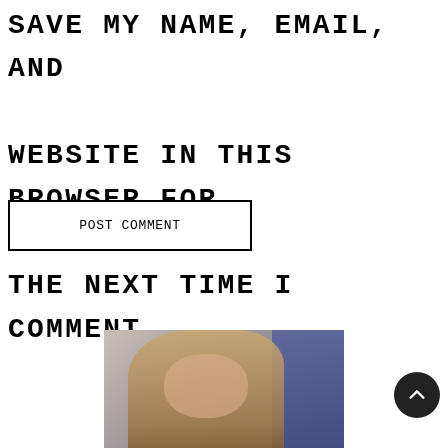SAVE MY NAME, EMAIL, AND WEBSITE IN THIS BROWSER FOR THE NEXT TIME I COMMENT.
POST COMMENT
[Figure (photo): A woman with long brown highlighted hair photographed from the shoulders up, partial view cropped, with a dark blue background on the right side.]